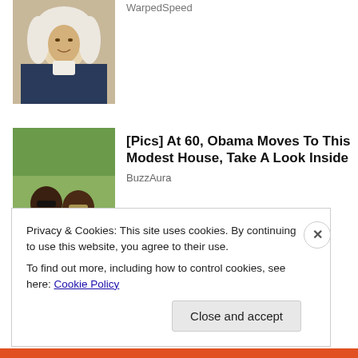[Figure (photo): Thumbnail image of historical portrait figure with white wig]
WarpedSpeed
[Figure (photo): Photo of two people wearing sunglasses outdoors with greenery behind]
[Pics] At 60, Obama Moves To This Modest House, Take A Look Inside
BuzzAura
Privacy & Cookies: This site uses cookies. By continuing to use this website, you agree to their use.
To find out more, including how to control cookies, see here: Cookie Policy
Close and accept